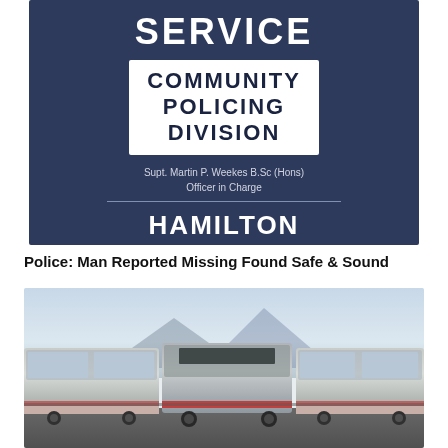[Figure (photo): Photo of a dark blue police service sign showing 'Community Policing Division' in a white box, with officer name, and 'Hamilton Police Station' with Station Commander name, mounted on a building exterior]
Police: Man Reported Missing Found Safe & Sound
[Figure (photo): Photo of three buses parked side by side in a parking area, taken in low light with mountains visible in the background]